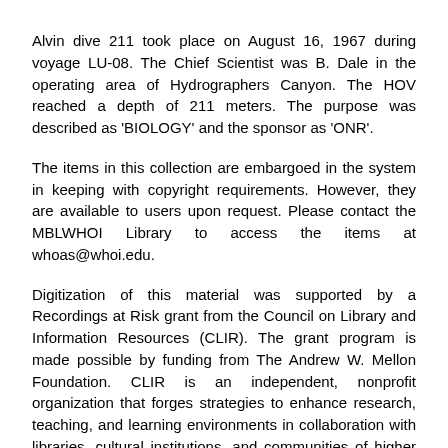Alvin dive 211 took place on August 16, 1967 during voyage LU-08. The Chief Scientist was B. Dale in the operating area of Hydrographers Canyon. The HOV reached a depth of 211 meters. The purpose was described as 'BIOLOGY' and the sponsor as 'ONR'.
The items in this collection are embargoed in the system in keeping with copyright requirements. However, they are available to users upon request. Please contact the MBLWHOI Library to access the items at whoas@whoi.edu.
Digitization of this material was supported by a Recordings at Risk grant from the Council on Library and Information Resources (CLIR). The grant program is made possible by funding from The Andrew W. Mellon Foundation. CLIR is an independent, nonprofit organization that forges strategies to enhance research, teaching, and learning environments in collaboration with libraries, cultural institutions, and communities of higher learning. To learn more, visit www.clir.org and follow CLIR on Facebook and Twitter.